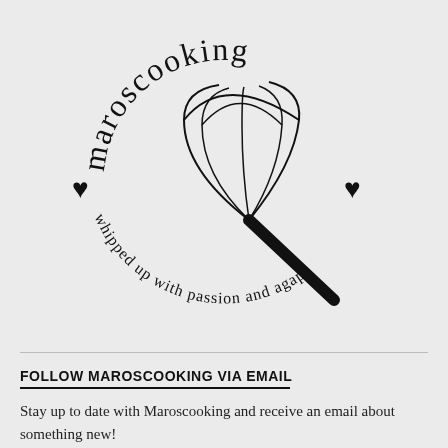[Figure (logo): Maroscooking logo: circular arrangement of the word 'maroscooking' arched at top, a whisk in the center, two hearts on left and right sides, and the tagline 'whipped up with passion and agape' curved along the bottom]
FOLLOW MAROSCOOKING VIA EMAIL
Stay up to date with Maroscooking and receive an email about something new!